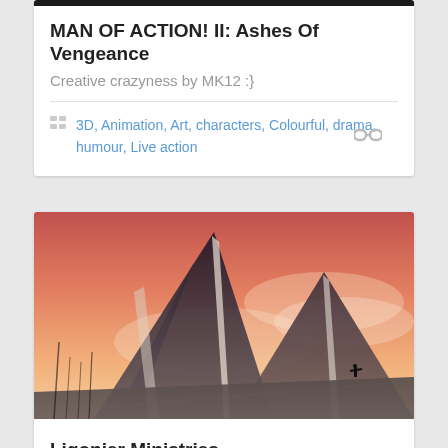[Figure (illustration): Dark top banner strip]
MAN OF ACTION! II: Ashes Of Vengeance
Creative crazyness by MK12 :}
3D, Animation, Art, characters, Colourful, drama, humour, Live action
[Figure (illustration): Digital painting of geometric angular mountain-like shapes against a warm orange-pink sunset sky, with a silhouette of a person standing on a road in the distance]
Ligonier Ministries
This is a short video made for Ligonier Ministries